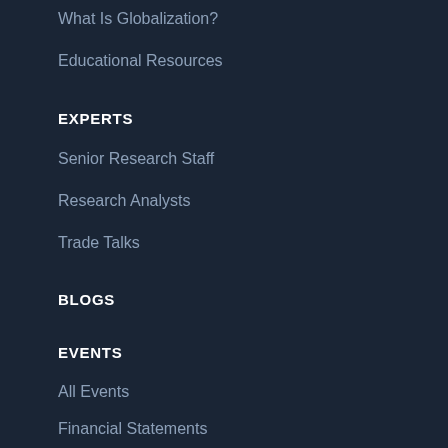What Is Globalization?
Educational Resources
EXPERTS
Senior Research Staff
Research Analysts
Trade Talks
BLOGS
EVENTS
All Events
Financial Statements
Global Economic Prospects
Stavros Niarchos Foundation Lectures
Trade Winds
NEWSROOM